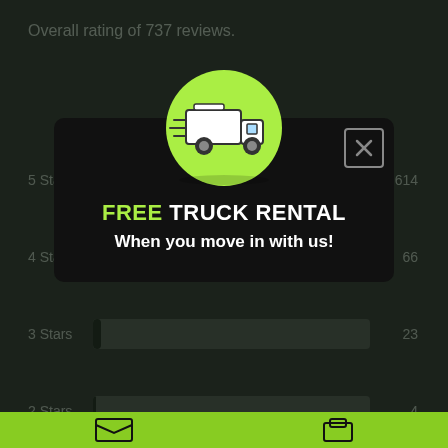Overall rating of 737 reviews.
[Figure (bar-chart): Star ratings]
Read our reviews to hear about the experience with our company. We strive to make every customer find a happy customer. We use the comments, complaints, feedback and reviews to listen to our customers and provide the best service possible.
We appreciate our customers taking the time to share their experiences and look forward to working with you.
[Figure (infographic): Modal popup with truck illustration on green circle, text FREE TRUCK RENTAL When you move in with us!, and a close (X) button in the top right corner.]